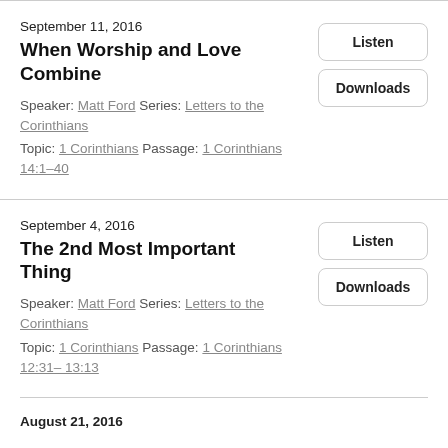September 11, 2016
When Worship and Love Combine
Speaker: Matt Ford Series: Letters to the Corinthians
Topic: 1 Corinthians Passage: 1 Corinthians 14:1–40
Listen
Downloads
September 4, 2016
The 2nd Most Important Thing
Speaker: Matt Ford Series: Letters to the Corinthians
Topic: 1 Corinthians Passage: 1 Corinthians 12:31– 13:13
Listen
Downloads
August 21, 2016